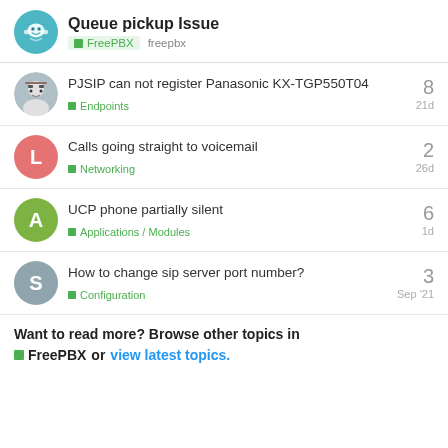Queue pickup Issue — FreePBX freepbx
PJSIP can not register Panasonic KX-TGP550T04 — Endpoints — 8 replies — 21d
Calls going straight to voicemail — Networking — 2 replies — 26d
UCP phone partially silent — Applications / Modules — 6 replies — 1d
How to change sip server port number? — Configuration — 3 replies — Sep '21
Want to read more? Browse other topics in FreePBX or view latest topics.